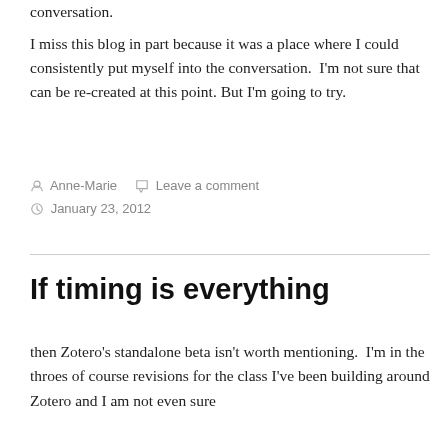conversation.
I miss this blog in part because it was a place where I could consistently put myself into the conversation.  I'm not sure that can be re-created at this point. But I'm going to try.
Anne-Marie   Leave a comment
January 23, 2012
If timing is everything
then Zotero's standalone beta isn't worth mentioning.  I'm in the throes of course revisions for the class I've been building around Zotero and I am not even sure